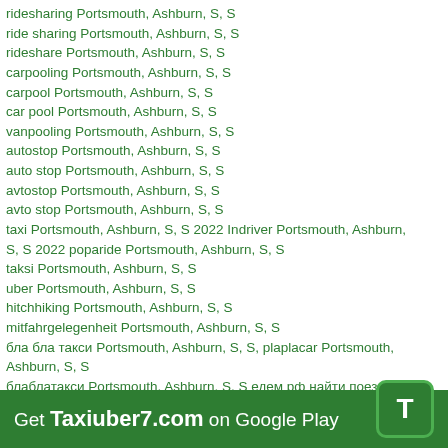ridesharing Portsmouth, Ashburn, S, S
ride sharing Portsmouth, Ashburn, S, S
rideshare Portsmouth, Ashburn, S, S
carpooling Portsmouth, Ashburn, S, S
carpool Portsmouth, Ashburn, S, S
car pool Portsmouth, Ashburn, S, S
vanpooling Portsmouth, Ashburn, S, S
autostop Portsmouth, Ashburn, S, S
auto stop Portsmouth, Ashburn, S, S
avtostop Portsmouth, Ashburn, S, S
avto stop Portsmouth, Ashburn, S, S
taxi Portsmouth, Ashburn, S, S 2022 Indriver Portsmouth, Ashburn, S, S 2022 poparide Portsmouth, Ashburn, S, S
taksi Portsmouth, Ashburn, S, S
uber Portsmouth, Ashburn, S, S
hitchhiking Portsmouth, Ashburn, S, S
mitfahrgelegenheit Portsmouth, Ashburn, S, S
бла бла такси Portsmouth, Ashburn, S, S, plaplacar Portsmouth, Ashburn, S, S
блаблатакси Portsmouth, Ashburn, S, S едем рф найти поездку как пассажир Portsmouth, Ashburn, S, S, едем попутчики Portsmouth, Ashburn, S, S, едем попутчики из Portsmouth, Ashburn, S, S попутчик онлайн Portsmouth, Ashburn, S, S бла бла car Portsmouth, Ashburn, S, Sblabla как такси Portsmouth, Ashburn, S, S
Get Taxiuber7.com on Google Play